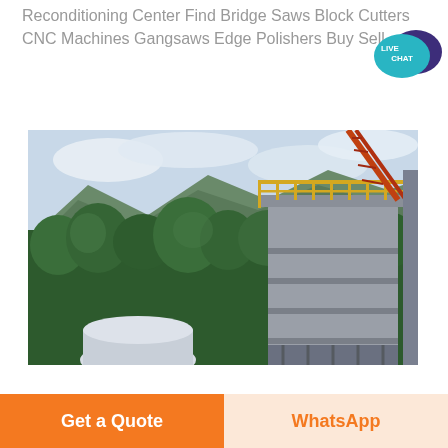Reconditioning Center Find Bridge Saws Block Cutters CNC Machines Gangsaws Edge Polishers Buy Sell...
[Figure (photo): Industrial facility with a large metal cylindrical silo/tank with yellow railing on top, surrounded by forested mountains and cloudy sky. Industrial structure and scaffolding visible.]
Get a Quote
WhatsApp